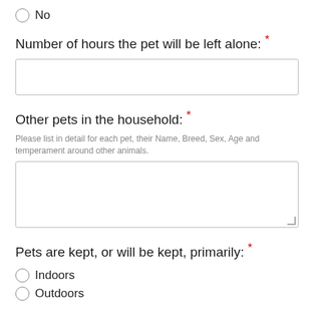No
Number of hours the pet will be left alone: *
Other pets in the household: *
Please list in detail for each pet, their Name, Breed, Sex, Age and temperament around other animals.
Pets are kept, or will be kept, primarily: *
Indoors
Outdoors